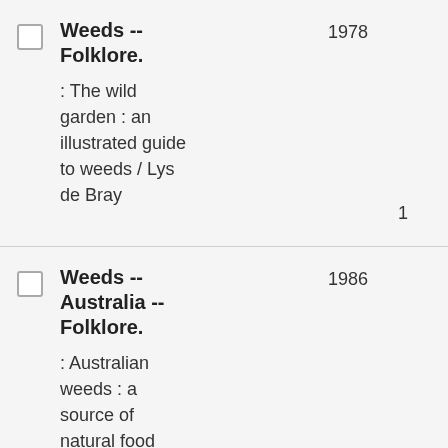Weeds -- Folklore. : The wild garden : an illustrated guide to weeds / Lys de Bray
Weeds -- Australia -- Folklore. : Australian weeds : a source of natural food and medicine / Gai Stern ; illustrated by